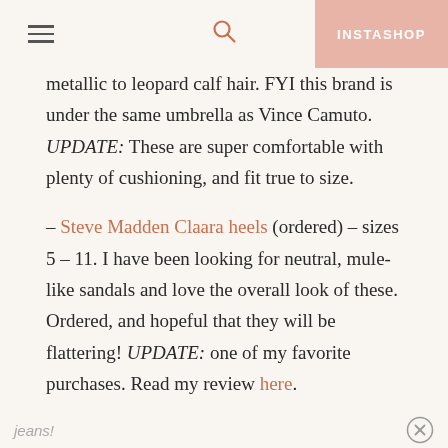INSTASHOP
metallic to leopard calf hair. FYI this brand is under the same umbrella as Vince Camuto. UPDATE: These are super comfortable with plenty of cushioning, and fit true to size.
– Steve Madden Claara heels (ordered) – sizes 5 – 11. I have been looking for neutral, mule-like sandals and love the overall look of these. Ordered, and hopeful that they will be flattering! UPDATE: one of my favorite purchases. Read my review here.
– Vince Camuto Barsha lace-up pump, sizes 4 – 11. A closed-toe version of their open-toe lace-up with lots of rave reviews. These look so cute on the model with ankle jeans!
jeans!